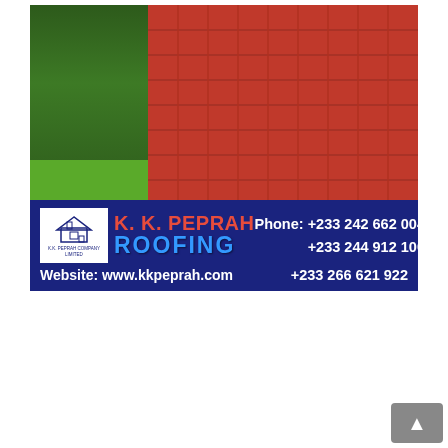[Figure (photo): Advertisement for K.K. Peprah Roofing company. Top portion shows a photo of green and red/pink roofing tiles stacked. Bottom portion is a dark blue banner with company logo, name 'K. K. PEPRAH ROOFING' in red and blue text, phone numbers +233 242 662 004, +233 244 912 100, +233 266 621 922, and website www.kkpeprah.com.]